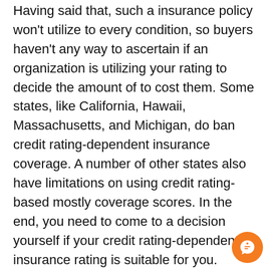Having said that, such a insurance policy won't utilize to every condition, so buyers haven't any way to ascertain if an organization is utilizing your rating to decide the amount of to cost them. Some states, like California, Hawaii, Massachusetts, and Michigan, do ban credit rating-dependent insurance coverage. A number of other states also have limitations on using credit rating-based mostly coverage scores. In the end, you need to come to a decision yourself if your credit rating-dependent insurance rating is suitable for you.(motorbike insurance coverage)(roadside guidance coverage)(bundling vehicle)(get yourself a vehicle insurance coverage)(pet insurance coverage)(actual funds benefit)(superior promises company)(yacht insurance plan)
Age impacts prices
Quite a few elements affect the price of car or truck insurance policy special discounts, including age. Age affects your amount by much more than thirty %, and in certain states, a younger driver can pay almost four